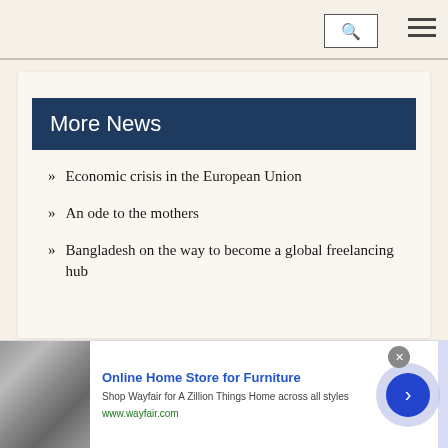Navigation bar with search and menu icons
More News
» Economic crisis in the European Union
» An ode to the mothers
» Bangladesh on the way to become a global freelancing hub
[Figure (other): Advertisement banner for Wayfair Online Home Store for Furniture showing kitchen appliances image]
Online Home Store for Furniture
Shop Wayfair for A Zillion Things Home across all styles
www.wayfair.com